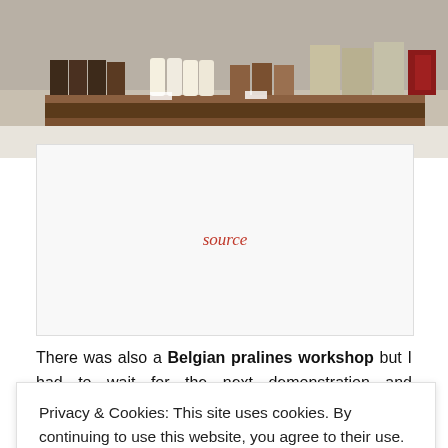[Figure (photo): Interior of a Belgian chocolate shop showing shelves stacked with various chocolates and pralines in dark, white, and mixed varieties.]
source
There was also a Belgian pralines workshop but I had to wait for the next demonstration and degustation to begin. So I just took some photos of a few
Privacy & Cookies: This site uses cookies. By continuing to use this website, you agree to their use.
To find out more, including how to control cookies, see here: Cookie Policy
CLOSE AND ACCEPT
were a few people at the museum waiting for the